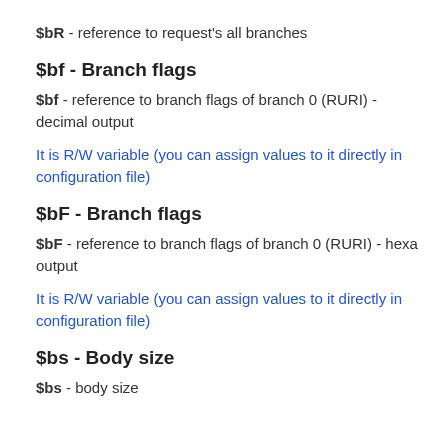$bR - reference to request's all branches
$bf - Branch flags
$bf - reference to branch flags of branch 0 (RURI) - decimal output
It is R/W variable (you can assign values to it directly in configuration file)
$bF - Branch flags
$bF - reference to branch flags of branch 0 (RURI) - hexa output
It is R/W variable (you can assign values to it directly in configuration file)
$bs - Body size
$bs - body size